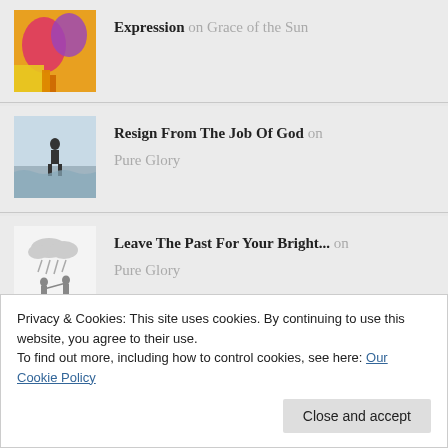Expression on Grace of the Sun
Resign From The Job Of God on Pure Glory
Leave The Past For Your Bright... on Pure Glory
[Figure (screenshot): Small thumbnail image at bottom row]
Privacy & Cookies: This site uses cookies. By continuing to use this website, you agree to their use.
To find out more, including how to control cookies, see here: Our Cookie Policy
Close and accept